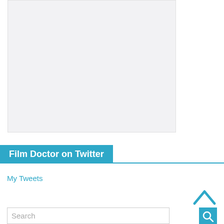[Figure (other): Light gray rectangular placeholder image area]
Film Doctor on Twitter
My Tweets
Search